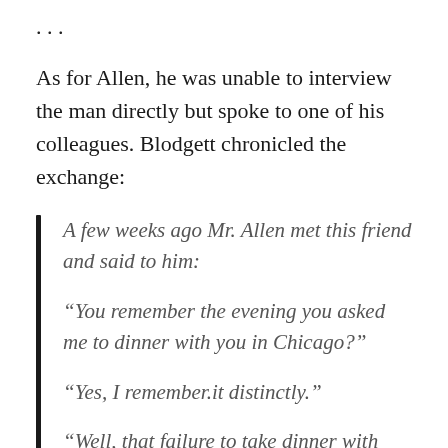. . .
As for Allen, he was unable to interview the man directly but spoke to one of his colleagues. Blodgett chronicled the exchange:
A few weeks ago Mr. Allen met this friend and said to him:
“You remember the evening you asked me to dinner with you in Chicago?”
“Yes, I remember.it distinctly.”
“Well, that failure to take dinner with you has cost me $5,000, and may cost me more.”